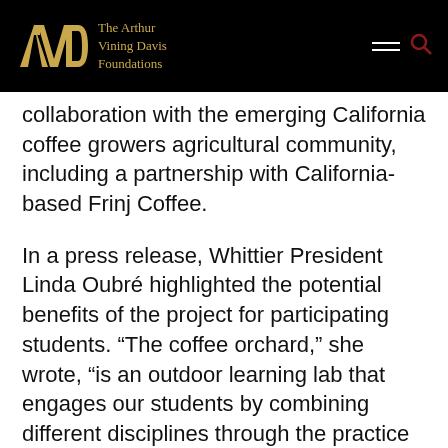The Arthur Vining Davis Foundations
collaboration with the emerging California coffee growers agricultural community, including a partnership with California-based Frinj Coffee.
In a press release, Whittier President Linda Oubré highlighted the potential benefits of the project for participating students. “The coffee orchard,” she wrote, “is an outdoor learning lab that engages our students by combining different disciplines through the practice of sustainable agriculture, and is preparing them for the careers of tomorrow.”
To learn more about the work that will be